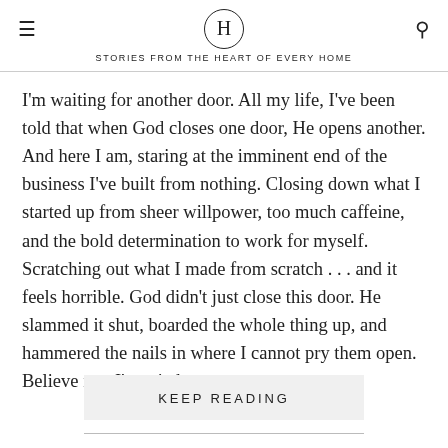H — STORIES FROM THE HEART OF EVERY HOME
I'm waiting for another door. All my life, I've been told that when God closes one door, He opens another. And here I am, staring at the imminent end of the business I've built from nothing. Closing down what I started up from sheer willpower, too much caffeine, and the bold determination to work for myself. Scratching out what I made from scratch . . . and it feels horrible. God didn't just close this door. He slammed it shut, boarded the whole thing up, and hammered the nails in where I cannot pry them open. Believe me. I've tried....
KEEP READING